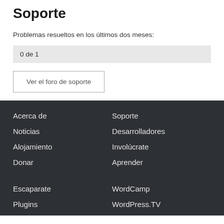Soporte
Problemas resueltos en los últimos dos meses:
0 de 1
Ver el foro de soporte
Acerca de
Soporte
Noticias
Desarrolladores
Alojamiento
Involúcrate
Donar
Aprender
Escaparate
WordCamp
Plugins
WordPress.TV